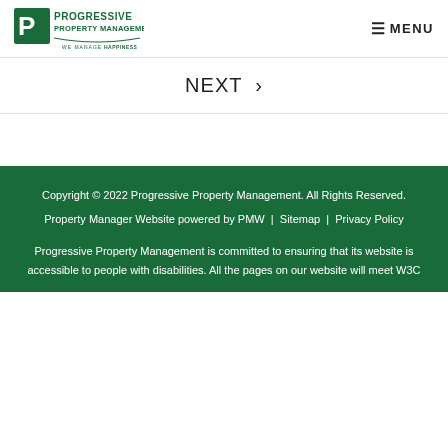PROGRESSIVE PROPERTY MANAGEMENT — WE MANAGE HAPPINESS | MENU
NEXT ›
Copyright © 2022 Progressive Property Management. All Rights Reserved. Property Manager Website powered by PMW | Sitemap | Privacy Policy

Progressive Property Management is committed to ensuring that its website is accessible to people with disabilities. All the pages on our website will meet W3C